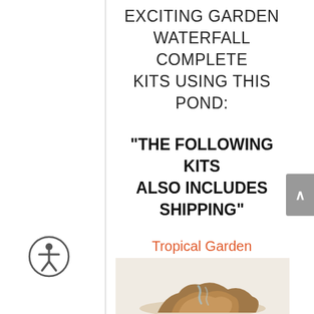EXCITING GARDEN WATERFALL COMPLETE KITS USING THIS POND:
“THE FOLLOWING KITS ALSO INCLUDES SHIPPING”
Tropical Garden Waterfalls Rock MW-011
[Figure (photo): Tropical Garden Waterfalls Rock MW-011 product photo showing a decorative rock waterfall sculpture on a light beige background]